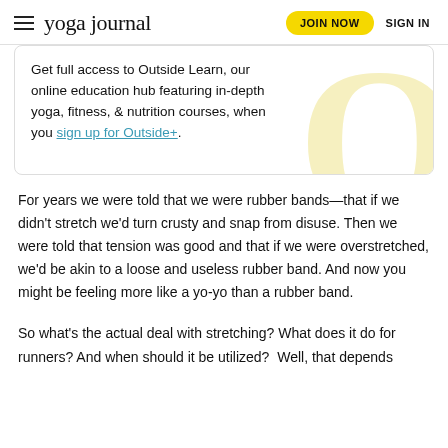yoga journal  JOIN NOW  SIGN IN
Get full access to Outside Learn, our online education hub featuring in-depth yoga, fitness, & nutrition courses, when you sign up for Outside+.
For years we were told that we were rubber bands—that if we didn't stretch we'd turn crusty and snap from disuse. Then we were told that tension was good and that if we were overstretched, we'd be akin to a loose and useless rubber band. And now you might be feeling more like a yo-yo than a rubber band.
So what's the actual deal with stretching? What does it do for runners? And when should it be utilized?  Well, that depends